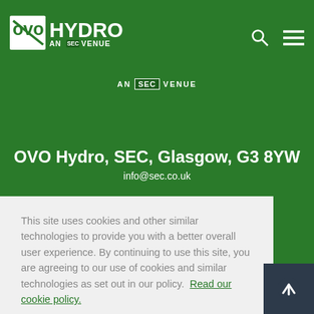[Figure (logo): OVO Hydro logo with white text 'OVO HYDRO AN SEC VENUE' on green background]
AN SEC VENUE
OVO Hydro, SEC, Glasgow, G3 8YW
info@sec.co.uk
This site uses cookies and other similar technologies to provide you with a better overall user experience. By continuing to use this site, you are agreeing to our use of cookies and similar technologies as set out in our policy.  Read our cookie policy.
Got it!